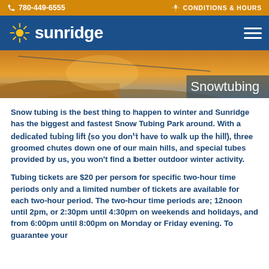780-449-6555   CONDITIONS & HOURS
[Figure (logo): Sunridge logo with sunburst icon and white text on dark blue background with hamburger menu]
[Figure (photo): Aerial/panoramic photo of Sunridge ski area at sunset/golden hour with snow tubing hill, banner text reading 'Snowtubing']
Snow tubing is the best thing to happen to winter and Sunridge has the biggest and fastest Snow Tubing Park around. With a dedicated tubing lift (so you don't have to walk up the hill), three groomed chutes down one of our main hills, and special tubes provided by us, you won't find a better outdoor winter activity.
Tubing tickets are $20 per person for specific two-hour time periods only and a limited number of tickets are available for each two-hour period. The two-hour time periods are; 12noon until 2pm, or 2:30pm until 4:30pm on weekends and holidays, and from 6:00pm until 8:00pm on Monday or Friday evening. To guarantee your